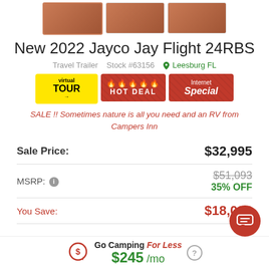[Figure (photo): Three thumbnail images of RV interior/exterior, brownish-orange tones. First thumbnail has selection border.]
New 2022 Jayco Jay Flight 24RBS
Travel Trailer   Stock #63156   Leesburg FL
[Figure (infographic): Three promotional badges: Virtual Tour (yellow), Hot Deal (red with flame icons), Internet Special (red)]
SALE !! Sometimes nature is all you need and an RV from Campers Inn
| Label | Value |
| --- | --- |
| Sale Price: | $32,995 |
| MSRP: | $51,093 / 35% OFF |
| You Save: | $18,098 |
Go Camping For Less $245 /mo